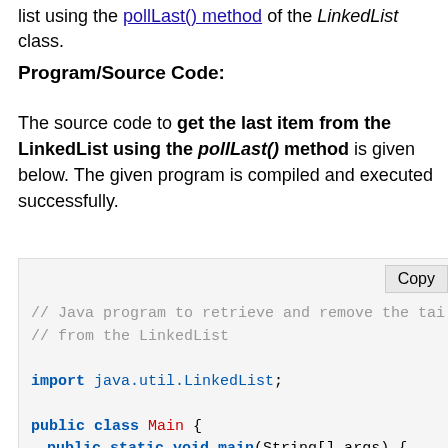list using the pollLast() method of the LinkedList class.
Program/Source Code:
The source code to get the last item from the LinkedList using the pollLast() method is given below. The given program is compiled and executed successfully.
[Figure (screenshot): Java source code snippet showing a program that retrieves and removes the tail from a LinkedList using pollLast(). Shows import java.util.LinkedList; public class Main with main method creating a LinkedList and adding items 1, TWO, 3.]